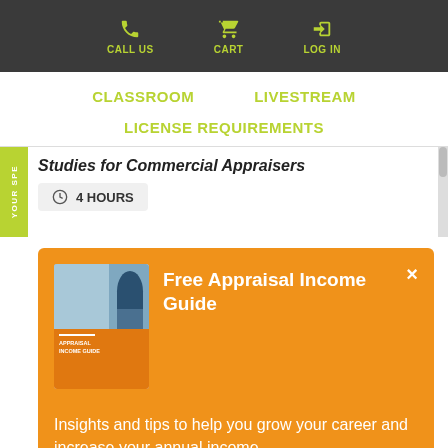CALL US   CART   LOG IN
CLASSROOM   LIVESTREAM
LICENSE REQUIREMENTS
Studies for Commercial Appraisers
4 HOURS
Free Appraisal Income Guide
[Figure (illustration): Book cover showing a person with a tablet in a room, with orange background and guide title text]
Insights and tips to help you grow your career and increase your annual income.
DOWNLOAD NOW